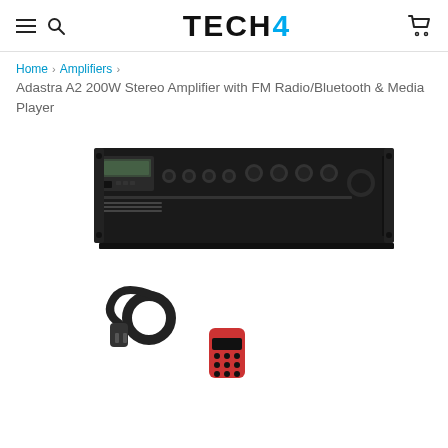TECH4 (logo with navigation icons)
Home > Amplifiers > Adastra A2 200W Stereo Amplifier with FM Radio/Bluetooth & Media Player
[Figure (photo): Photo of the Adastra A2 200W Stereo Amplifier rack unit in black, shown with a power cable and remote control accessory below it, on a white background.]